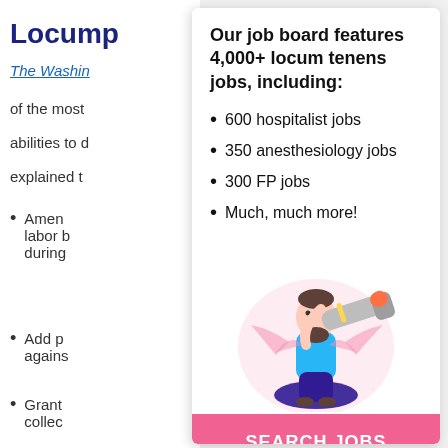Locump
The Washin
of the most
abilities to d
explained t
Amen labor b during
Add p agains
Grant collec curren
Our job board features 4,000+ locum tenens jobs, including:
600 hospitalist jobs
350 anesthesiology jobs
300 FP jobs
Much, much more!
[Figure (illustration): Illustration of a person holding a telescope/spyglass, standing in front of a circular shape, looking through the scope. Character has beard, wearing blue and navy.]
SEARCH JOBS